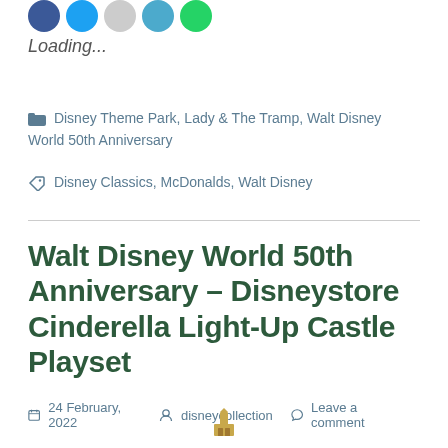[Figure (other): Social media sharing icon circles (Facebook, Twitter, grey, light blue, green/WhatsApp)]
Loading...
Disney Theme Park, Lady & The Tramp, Walt Disney World 50th Anniversary
Disney Classics, McDonalds, Walt Disney
Walt Disney World 50th Anniversary – Disneystore Cinderella Light-Up Castle Playset
24 February, 2022  disneycollection  Leave a comment